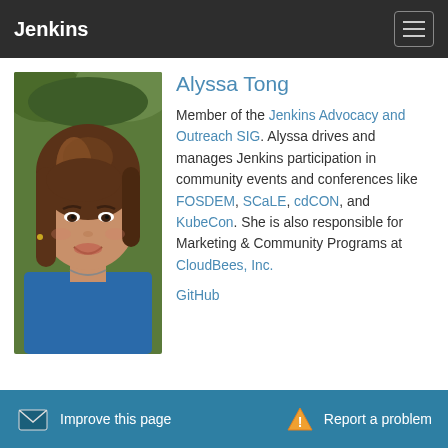Jenkins
[Figure (photo): Profile photo of Alyssa Tong, a woman with shoulder-length brown hair, smiling, outdoors]
Alyssa Tong
Member of the Jenkins Advocacy and Outreach SIG. Alyssa drives and manages Jenkins participation in community events and conferences like FOSDEM, SCaLE, cdCON, and KubeCon. She is also responsible for Marketing & Community Programs at CloudBees, Inc.
GitHub
Improve this page   Report a problem